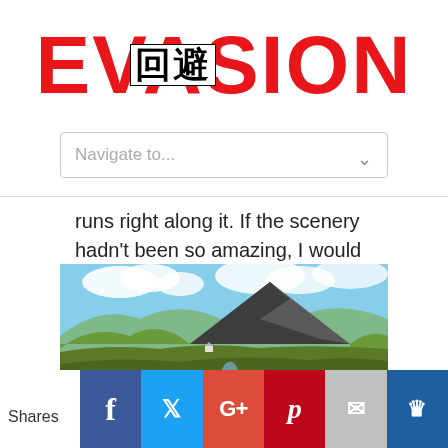EVASION 回避
[Figure (screenshot): Navigation dropdown bar with 'Navigate to...' placeholder text and chevron]
runs right along it. If the scenery hadn't been so amazing, I would have been rather annoyed.
[Figure (photo): Mountain landscape photo showing a large rocky mountain peak with green valley and stream in foreground under blue sky with clouds]
Shares | Facebook | Twitter | Google+ | Pinterest | Email | Crown